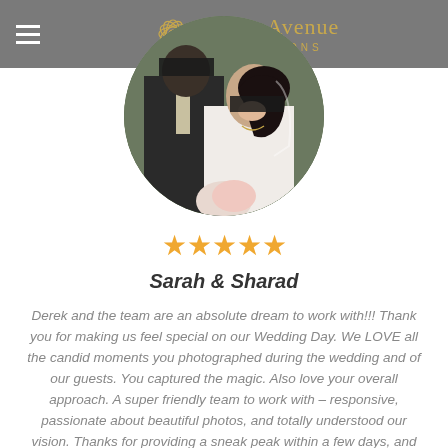Black Avenue PRODUCTIONS
[Figure (photo): Circular profile photo of a couple at their wedding – bride in white dress smiling, groom in dark suit with light tie, partially obscured faces]
★★★★★
Sarah & Sharad
Derek and the team are an absolute dream to work with!!! Thank you for making us feel special on our Wedding Day. We LOVE all the candid moments you photographed during the wedding and of our guests. You captured the magic. Also love your overall approach. A super friendly team to work with – responsive, passionate about beautiful photos, and totally understood our vision. Thanks for providing a sneak peak within a few days, and the cool online album. Made it